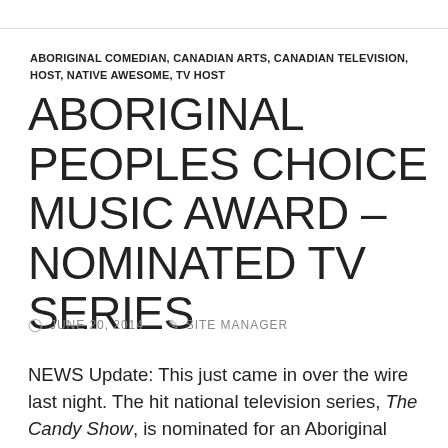ABORIGINAL COMEDIAN, CANADIAN ARTS, CANADIAN TELEVISION, HOST, NATIVE AWESOME, TV HOST
ABORIGINAL PEOPLES CHOICE MUSIC AWARD – NOMINATED TV SERIES
⊙ JUNE 20, 2014    ✎ SITE MANAGER
NEWS Update: This just came in over the wire last night. The hit national television series, The Candy Show, is nominated for an Aboriginal Peoples Choice Music Award for promoting/supporting aboriginal musicians in Canada. This is The Candy Show's 4th nomination for the hard work and dedication by Candy Palmater own creation. Other nominations include: 2013 Canadian Screen Award nod, 2012 Canadian Screen